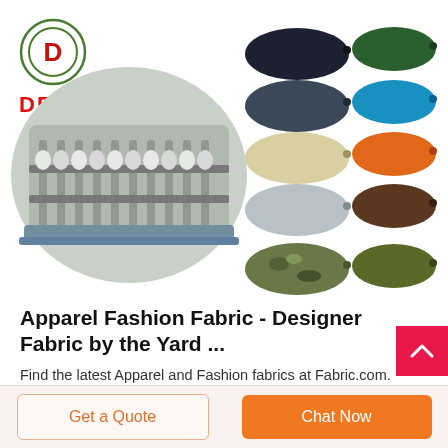[Figure (photo): Deekon Group logo with circular emblem and red DEEKON text, alongside a textile spinning machine (oval-framed photo) and a collection of colorful military berets in various colors including black, dark blue, green, blue, yellow/cream, orange, light grey, brown, camouflage, and olive green.]
Apparel Fashion Fabric - Designer Fabric by the Yard ...
Find the latest Apparel and Fashion fabrics at Fabric.com. Enjoy Free Shipping on domestic orders $49+ and Free Returns! Shop Satin, Knit, Silk and Cotton fabrics.
Get a Quote
Chat Now